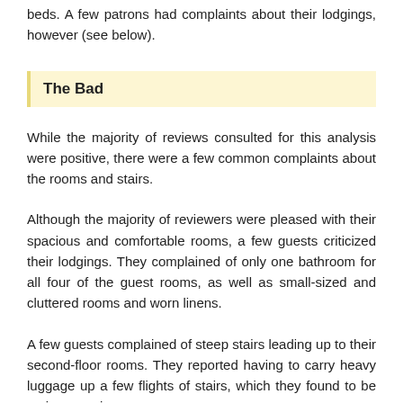beds. A few patrons had complaints about their lodgings, however (see below).
The Bad
While the majority of reviews consulted for this analysis were positive, there were a few common complaints about the rooms and stairs.
Although the majority of reviewers were pleased with their spacious and comfortable rooms, a few guests criticized their lodgings. They complained of only one bathroom for all four of the guest rooms, as well as small-sized and cluttered rooms and worn linens.
A few guests complained of steep stairs leading up to their second-floor rooms. They reported having to carry heavy luggage up a few flights of stairs, which they found to be an inconvenience.